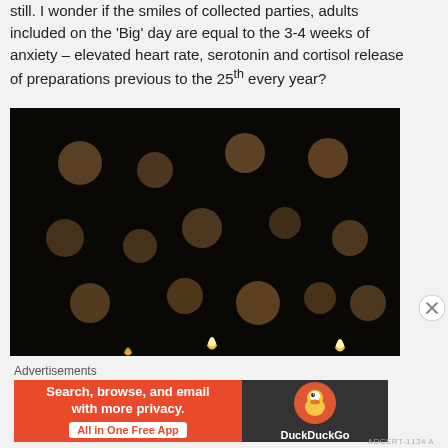still. I wonder if the smiles of collected parties, adults included on the 'Big' day are equal to the 3-4 weeks of anxiety – elevated heart rate, serotonin and cortisol release of preparations previous to the 25th every year?
[Figure (photo): Dark photograph of candles with bokeh light circles against a black background, with candle flames visible at the bottom]
Advertisements
[Figure (other): DuckDuckGo advertisement banner: orange left side with text 'Search, browse, and email with more privacy. All in One Free App', dark right side with DuckDuckGo duck logo and brand name]